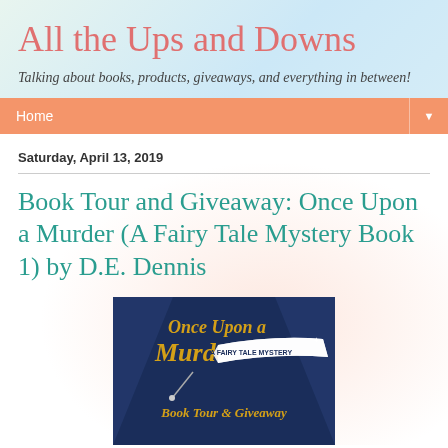All the Ups and Downs
Talking about books, products, giveaways, and everything in between!
Home
Saturday, April 13, 2019
Book Tour and Giveaway: Once Upon a Murder (A Fairy Tale Mystery Book 1) by D.E. Dennis
[Figure (illustration): Book tour promotional image for 'Once Upon a Murder – A Fairy Tale Mystery Book Tour & Giveaway' showing dark blue background with golden script title text and a white ribbon banner reading 'A Fairy Tale Mystery']